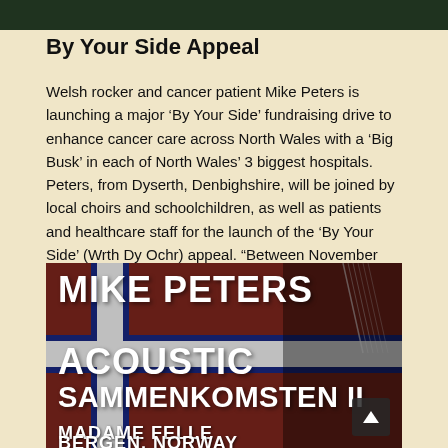[Figure (photo): Dark green top image strip, partial photo above article]
By Your Side Appeal
Welsh rocker and cancer patient Mike Peters is launching a major ‘By Your Side’ fundraising drive to enhance cancer care across North Wales with a ‘Big Busk’ in each of North Wales’ 3 biggest hospitals. Peters, from Dyserth, Denbighshire, will be joined by local choirs and schoolchildren, as well as patients and healthcare staff for the launch of the ‘By Your Side’ (Wrth Dy Ochr) appeal. “Between November 2014 and [read more]
[Figure (photo): Concert/event poster for Mike Peters Acoustic Sammenkomsten II at Madame Felle, Bergen, Norway. White bold text on Norwegian flag and dark textured background with guitar imagery.]